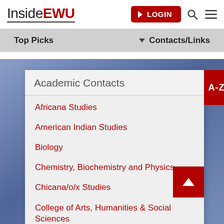InsideEWU — LOGIN
Top Picks
Contacts/Links
Academic Contacts
Africana Studies
American Indian Studies
Biology
Chemistry, Biochemistry and Physics
Chicana/o/x Studies
College of Arts, Humanities & Social Sciences